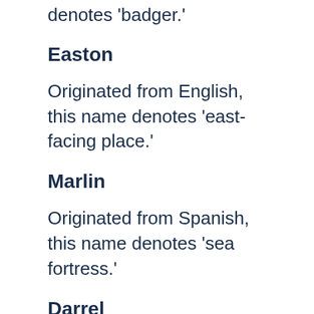denotes 'badger.'
Easton
Originated from English, this name denotes 'east-facing place.'
Marlin
Originated from Spanish, this name denotes 'sea fortress.'
Darrel
Originated from English, this name denotes 'dearly loved.'